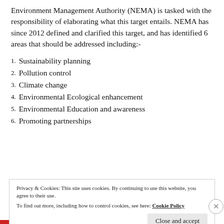Environment Management Authority (NEMA) is tasked with the responsibility of elaborating what this target entails. NEMA has since 2012 defined and clarified this target, and has identified 6 areas that should be addressed including:-
1. Sustainability planning
2. Pollution control
3. Climate change
4. Environmental Ecological enhancement
5. Environmental Education and awareness
6. Promoting partnerships
Privacy & Cookies: This site uses cookies. By continuing to use this website, you agree to their use. To find out more, including how to control cookies, see here: Cookie Policy
Close and accept